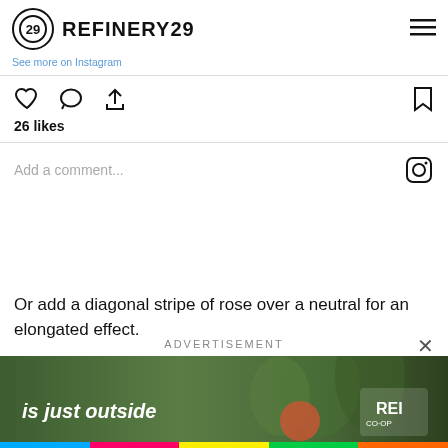REFINERY29
26 likes
Add a comment...
Or add a diagonal stripe of rose over a neutral for an elongated effect.
ADVERTISEMENT
[Figure (photo): REI Co-op advertisement banner showing a cyclist in a forest with text 'is just outside' and REI Co-op logo]